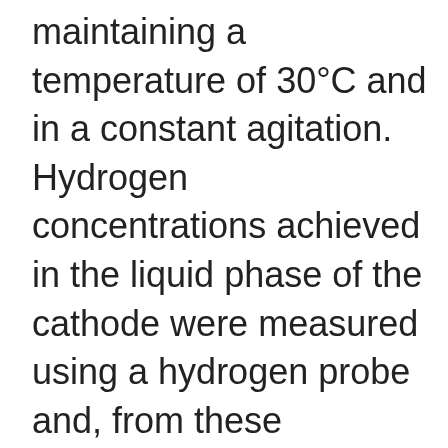maintaining a temperature of 30°C and in a constant agitation. Hydrogen concentrations achieved in the liquid phase of the cathode were measured using a hydrogen probe and, from these concentrations, we could determine the hydrogen productions. We had used agar for the immobilization. In addition, for each experiment, controls were carried out without immobilization of the cathode with agar and with immobilization of the cathode with agar without the bacteria